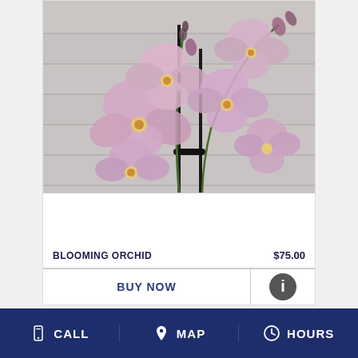[Figure (photo): Close-up photo of blooming pink/lavender orchid flowers (Phalaenopsis) with multiple blossoms on stems against a light grey wooden background]
BLOOMING ORCHID   $75.00
BUY NOW
CALL   MAP   HOURS